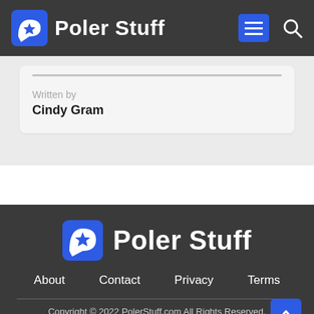Poler Stuff
Written by
Cindy Gram
[Figure (logo): Poler Stuff footer logo with brand name]
About  Contact  Privacy  Terms
Copyright © 2022 PolerStuff.com All Rights Reserved.